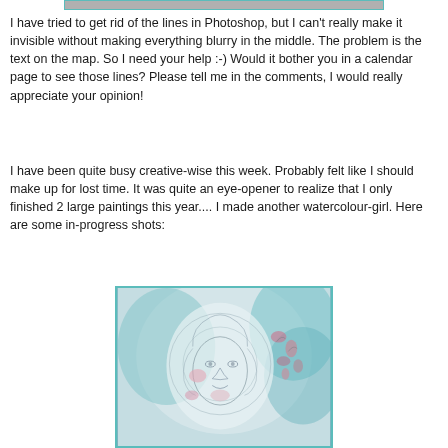[Figure (photo): Cropped top portion of an image with a teal/turquoise border, partially visible at the top of the page]
I have tried to get rid of the lines in Photoshop, but I can't really make it invisible without making everything blurry in the middle. The problem is the text on the map. So I need your help :-) Would it bother you in a calendar page to see those lines? Please tell me in the comments, I would really appreciate your opinion!
I have been quite busy creative-wise this week. Probably felt like I should make up for lost time. It was quite an eye-opener to realize that I only finished 2 large paintings this year.... I made another watercolour-girl. Here are some in-progress shots:
[Figure (photo): In-progress watercolour painting of a girl's face with pencil sketch lines visible, soft pink and teal washes of colour, with pink floral elements on the right side]